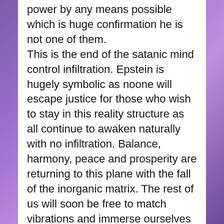power by any means possible which is huge confirmation he is not one of them. This is the end of the satanic mind control infiltration. Epstein is hugely symbolic as noone will escape justice for those who wish to stay in this reality structure as all continue to awaken naturally with no infiltration. Balance, harmony, peace and prosperity are returning to this plane with the fall of the inorganic matrix. The rest of us will soon be free to match vibrations and immerse ourselves in the 5d reality (full consciousness). Some may choose to bilocate and stay in both worlds. The Illuminati dark ones have made their
Advertisements
[Figure (screenshot): DuckDuckGo advertisement banner: orange left side with text 'Search, browse, and email with more privacy. All in One Free App' and dark right side with DuckDuckGo logo]